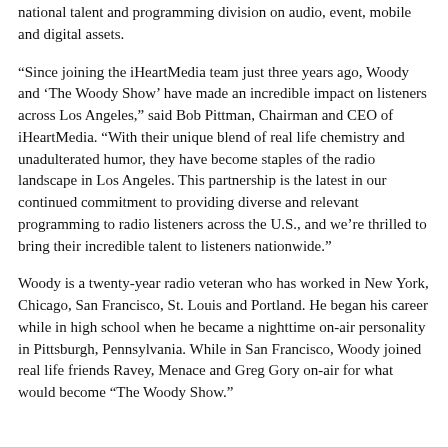national talent and programming division on audio, event, mobile and digital assets.
“Since joining the iHeartMedia team just three years ago, Woody and ‘The Woody Show’ have made an incredible impact on listeners across Los Angeles,” said Bob Pittman, Chairman and CEO of iHeartMedia. “With their unique blend of real life chemistry and unadulterated humor, they have become staples of the radio landscape in Los Angeles. This partnership is the latest in our continued commitment to providing diverse and relevant programming to radio listeners across the U.S., and we’re thrilled to bring their incredible talent to listeners nationwide.”
Woody is a twenty-year radio veteran who has worked in New York, Chicago, San Francisco, St. Louis and Portland. He began his career while in high school when he became a nighttime on-air personality in Pittsburgh, Pennsylvania. While in San Francisco, Woody joined real life friends Ravey, Menace and Greg Gory on-air for what would become “The Woody Show.”